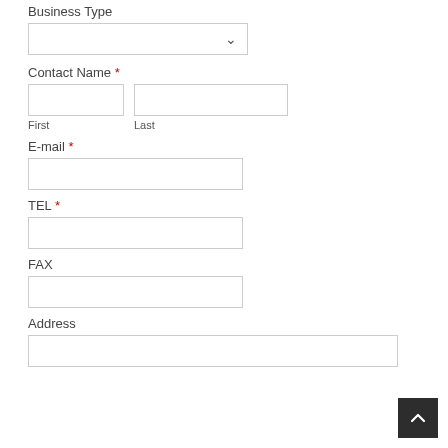Business Type
Contact Name *
First
Last
E-mail *
TEL *
FAX
Address